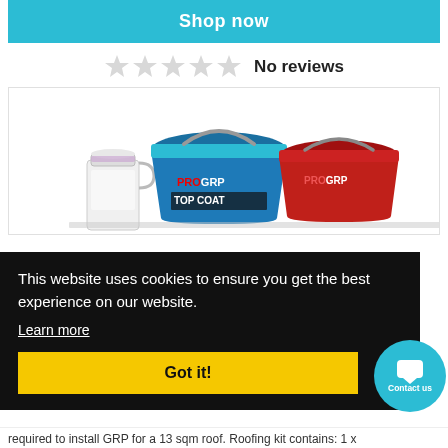Shop now
No reviews
[Figure (photo): Product photo showing PROGRP Top Coat containers (blue and red buckets) and a white container]
This website uses cookies to ensure you get the best experience on our website.
Learn more
Got it!
Contact us
required to install GRP for a 13 sqm roof. Roofing kit contains: 1 x